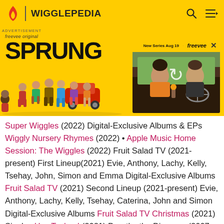WIGGLEPEDIA
[Figure (screenshot): Advertisement banner for Freevee Original series 'SPRUNG'. Yellow background with cast of characters on left, video thumbnail on right showing two people in a car. Text reads 'freevee original', 'SPRUNG', 'New Series Aug 19 | freevee'. Close button (X) visible.]
Super Wiggles (2022) Digital-Exclusive Albums & EPs Wiggly Nursery Rhymes (2022) • Apple Music Home Session: The Wiggles (2022) Fruit Salad TV (2021-present) First Lineup(2021) Evie, Anthony, Lachy, Kelly, Tsehay, John, Simon and Emma Digital-Exclusive Albums Fruit Salad TV (2021) Second Lineup (2021-present) Evie, Anthony, Lachy, Kelly, Tsehay, Caterina, John and Simon Digital-Exclusive Albums Fruit Salad TV Christmas (2021) Singles Hey Tsehay! (2021) Dorothy the Dinosaur (2007-